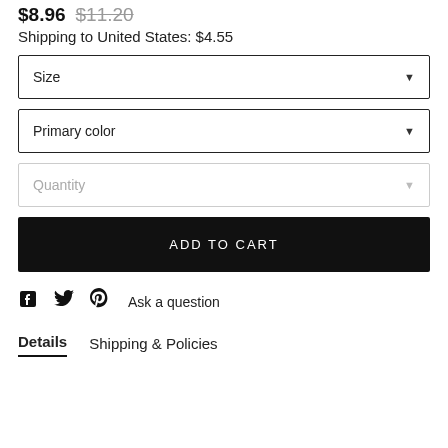$8.96 $11.20
Shipping to United States: $4.55
Size (dropdown)
Primary color (dropdown)
Quantity (dropdown)
ADD TO CART
Ask a question
Details   Shipping & Policies